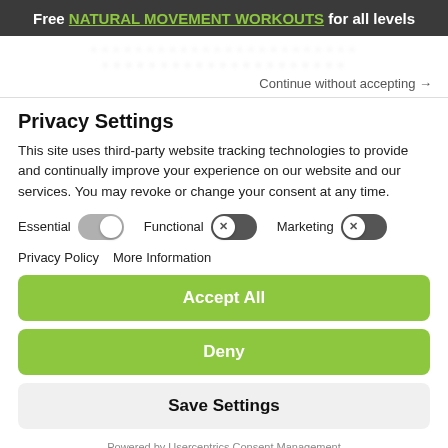Free NATURAL MOVEMENT WORKOUTS for all levels
Continue without accepting →
Privacy Settings
This site uses third-party website tracking technologies to provide and continually improve your experience on our website and our services. You may revoke or change your consent at any time.
Essential [toggle on] Functional [toggle off] Marketing [toggle off]
Privacy Policy   More Information
Accept All
Deny
Save Settings
Powered by Usercentrics Consent Management